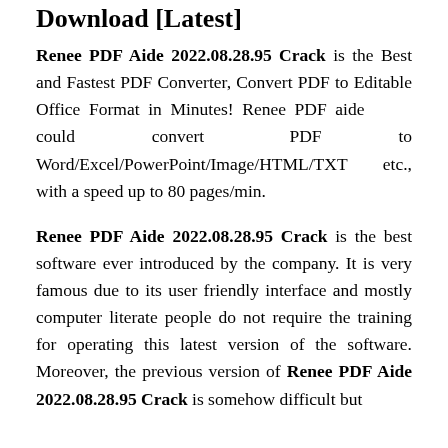Download [Latest]
Renee PDF Aide 2022.08.28.95 Crack is the Best and Fastest PDF Converter, Convert PDF to Editable Office Format in Minutes! Renee PDF aide could convert PDF to Word/Excel/PowerPoint/Image/HTML/TXT etc., with a speed up to 80 pages/min.
Renee PDF Aide 2022.08.28.95 Crack is the best software ever introduced by the company. It is very famous due to its user friendly interface and mostly computer literate people do not require the training for operating this latest version of the software. Moreover, the previous version of Renee PDF Aide 2022.08.28.95 Crack is somehow difficult but